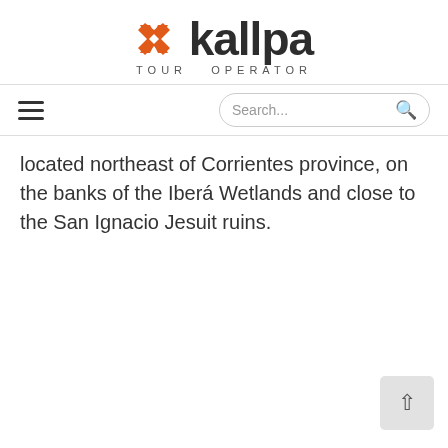[Figure (logo): Kallpa Tour Operator logo with orange X icon and dark text]
located northeast of Corrientes province, on the banks of the Iberá Wetlands and close to the San Ignacio Jesuit ruins.